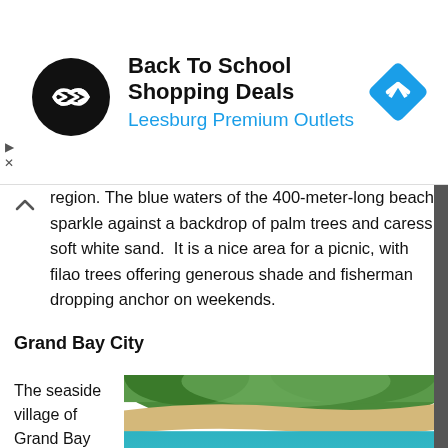[Figure (screenshot): Advertisement banner: Back To School Shopping Deals at Leesburg Premium Outlets with logo and navigation arrow icon]
region. The blue waters of the 400-meter-long beach sparkle against a backdrop of palm trees and caress soft white sand.  It is a nice area for a picnic, with filao trees offering generous shade and fisherman dropping anchor on weekends.
Grand Bay City
The seaside village of Grand Bay (also
[Figure (photo): Aerial photograph of Grand Bay coastal village with turquoise water, sandy beach, boats, and green trees]